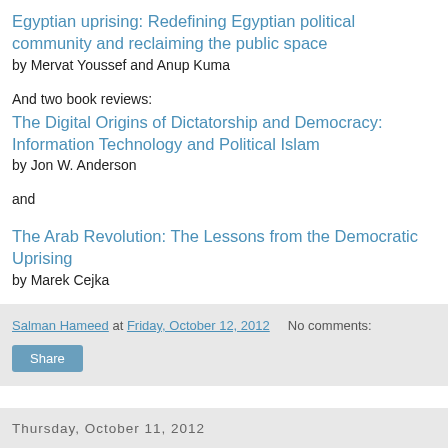Egyptian uprising: Redefining Egyptian political community and reclaiming the public space
by Mervat Youssef and Anup Kuma
And two book reviews:
The Digital Origins of Dictatorship and Democracy: Information Technology and Political Islam
by Jon W. Anderson
and
The Arab Revolution: The Lessons from the Democratic Uprising
by Marek Cejka
Salman Hameed at Friday, October 12, 2012   No comments:
Share
Thursday, October 11, 2012